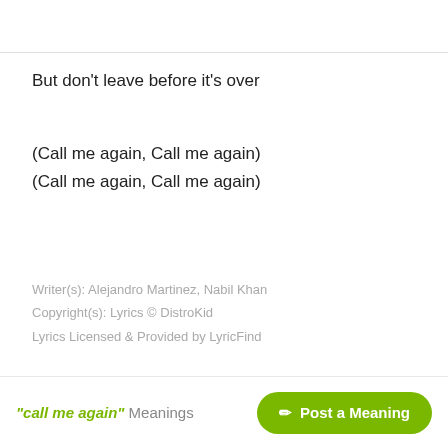But don't leave before it's over
(Call me again, Call me again)
(Call me again, Call me again)
Writer(s): Alejandro Martinez, Nabil Khan
Copyright(s): Lyrics © DistroKid
Lyrics Licensed & Provided by LyricFind
"call me again" Meanings
✏ Post a Meaning